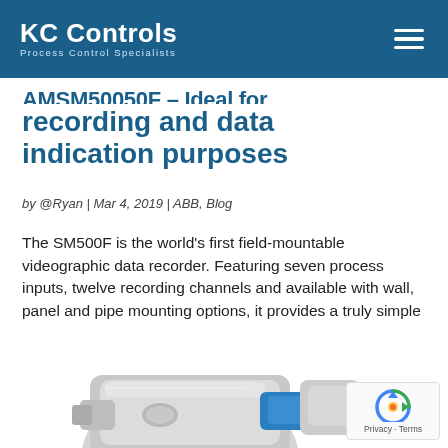KC Controls — Process Control Specialists
recording and data indication purposes
by @Ryan | Mar 4, 2019 | ABB, Blog
The SM500F is the world's first field-mountable videographic data recorder. Featuring seven process inputs, twelve recording channels and available with wall, panel and pipe mounting options, it provides a truly simple recording solution that can be used anywhere,...
[Figure (photo): Product photo of SM500F field-mountable videographic data recorder, showing metallic components with blue accent, partially visible at bottom of page]
[Figure (logo): Google reCAPTCHA badge with Privacy and Terms links]